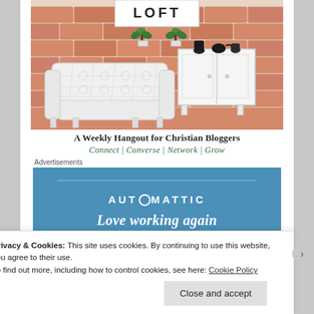[Figure (illustration): Blog header illustration: 'LOFT' text above a brick wall scene with a white tufted sofa and a white sideboard/cabinet with black vases and teapots on top. Decorative plants with green leaves are visible.]
A Weekly Hangout for Christian Bloggers
Connect | Converse | Network | Grow
Advertisements
[Figure (other): Automattic advertisement banner with blue background. Shows 'AUTOMATTIC' logo with a circle replacing the 'O', a horizontal divider line, and partial text 'Love working again' in italic white font.]
Privacy & Cookies: This site uses cookies. By continuing to use this website, you agree to their use.
To find out more, including how to control cookies, see here: Cookie Policy
Close and accept